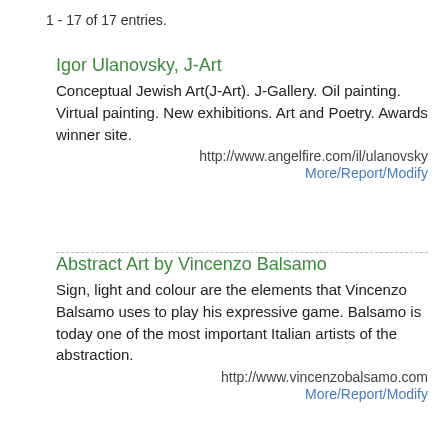1 - 17 of 17 entries.
Igor Ulanovsky, J-Art
Conceptual Jewish Art(J-Art). J-Gallery. Oil painting. Virtual painting. New exhibitions. Art and Poetry. Awards winner site.
http://www.angelfire.com/il/ulanovsky
More/Report/Modify
Abstract Art by Vincenzo Balsamo
Sign, light and colour are the elements that Vincenzo Balsamo uses to play his expressive game. Balsamo is today one of the most important Italian artists of the abstraction.
http://www.vincenzobalsamo.com
More/Report/Modify
Abstract Artist - Van Renselar
Buy original abstract art and limited edition prints by up-and-coming abstract artist Van Renselar. Artworks created for home interiors and...